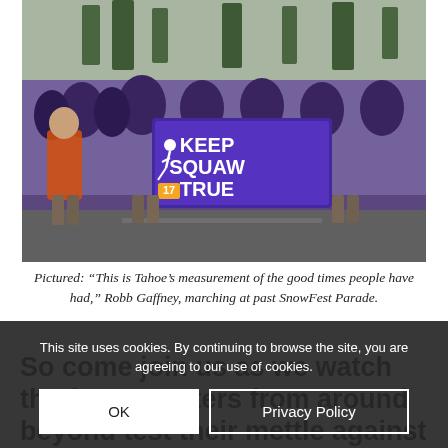[Figure (photo): Outdoor crowd photo showing people in purple 'Keep Squaw True' t-shirts marching and holding a large banner that reads 'KEEP SQUAW TRUE' with a skier logo. Snowy trees and street visible in background.]
Pictured: “This is Tahoe’s measurement of the good times people have had,” Robb Gaffney, marching at past SnowFest Parade.
So come join us as we watch the fastest eaters from around beyond test their mettle against each other and Fat Cat’s spicy